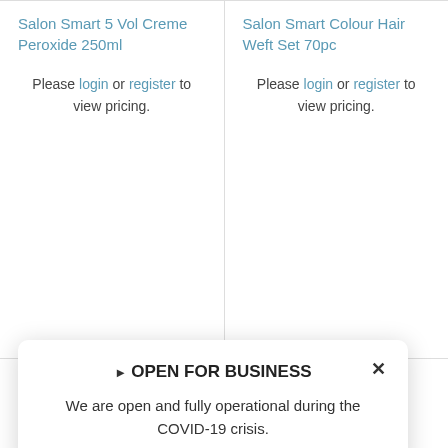Salon Smart 5 Vol Creme Peroxide 250ml
Please login or register to view pricing.
Salon Smart Colour Hair Weft Set 70pc
Please login or register to view pricing.
▶ OPEN FOR BUSINESS
We are open and fully operational during the COVID-19 crisis.